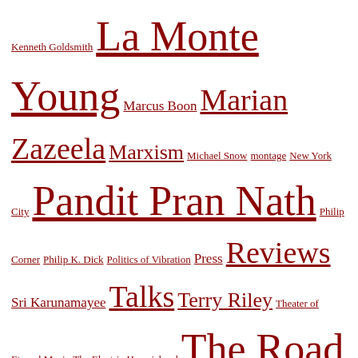Kenneth Goldsmith La Monte Young Marcus Boon Marian Zazeela Marxism Michael Snow montage New York City Pandit Pran Nath Philip Corner Philip K. Dick Politics of Vibration Press Reviews Sri Karunamayee Talks Terry Riley Theater of Eternal Music The Electric Harpsichord The Road of Excess The Third Mind The Wire Toronto Walter Benjamin William S. Burroughs
Recent Tweets
In fact ... here's the cover! https://t.co/aJa3WbwWfJ
79 days ago
Cover and blurbs for The Politics of Vibration, out in August!: https://t.co/dd8D2ZPuBf
79 days ago